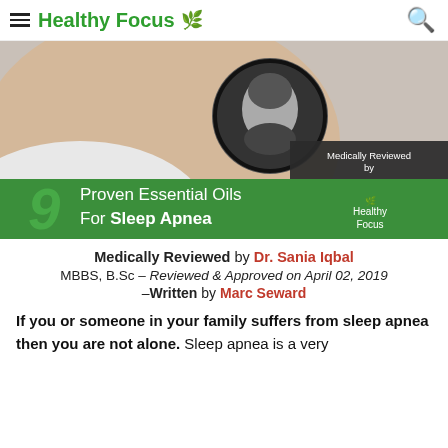Healthy Focus
[Figure (photo): Hero banner image: woman stretching with a black-and-white circular portrait of Dr. Sania Iqbal overlaid. Green banner reads '9 Proven Essential Oils For Sleep Apnea' with Healthy Focus branding. Dark box says 'Medically Reviewed by Dr. Sania Iqbal'.]
Medically Reviewed by Dr. Sania Iqbal
MBBS, B.Sc – Reviewed & Approved on April 02, 2019
–Written by Marc Seward
If you or someone in your family suffers from sleep apnea then you are not alone. Sleep apnea is a very